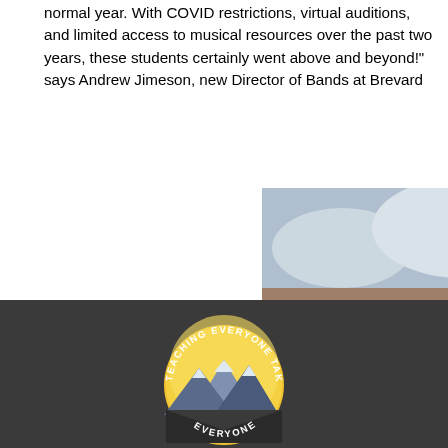normal year. With COVID restrictions, virtual auditions, and limited access to musical resources over the past two years, these students certainly went above and beyond!" says Andrew Jimeson, new Director of Bands at Brevard
[Figure (photo): A young man in a black suit standing in front of a brick building with colorful banners, on a brick plaza.]
High School.
[Figure (logo): Circular logo with text 'TEACHING EVERYONE TAKES EVERYONE' around the border, featuring a yellow/orange sun and blue/grey mountain peaks in the center on a dark background.]